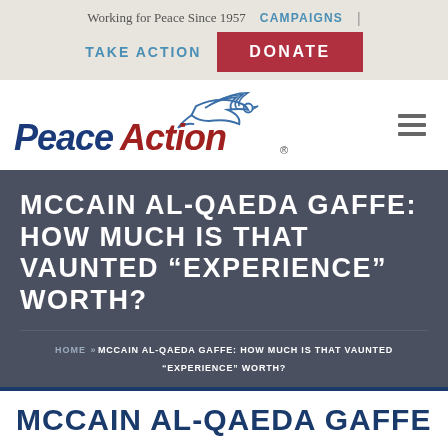Working for Peace Since 1957 | CAMPAIGNS | TAKE ACTION | DONATE
[Figure (logo): Peace Action logo with dove illustration and text 'PeaceAction.' — 'Peace' in dark blue italic, 'Action' in dark red italic, dove in blue outline above.]
MCCAIN AL-QAEDA GAFFE: HOW MUCH IS THAT VAUNTED “EXPERIENCE” WORTH?
HOME » MCCAIN AL-QAEDA GAFFE: HOW MUCH IS THAT VAUNTED “EXPERIENCE” WORTH?
MCCAIN AL-QAEDA GAFFE: HOW